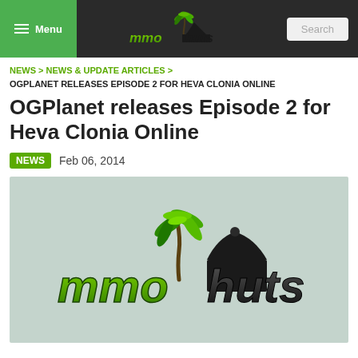Menu | mmohuts | Search
NEWS > NEWS & UPDATE ARTICLES > OGPLANET RELEASES EPISODE 2 FOR HEVA CLONIA ONLINE
OGPlanet releases Episode 2 for Heva Clonia Online
NEWS  Feb 06, 2014
[Figure (logo): MMOHuts logo — stylized text 'mmohuts' in green and dark gray with a palm tree and tropical hut silhouette]